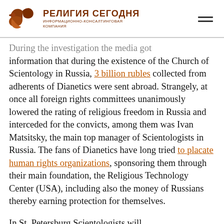[Figure (logo): Religiya Segodnya (Religion Today) logo with a stylized bird/wing icon and Russian text: РЕЛИГИЯ СЕГОДНЯ ИНФОРМАЦИОННО-КОНСАЛТИНГОВАЯ КОМПАНИЯ]
During the investigation the media got information that during the existence of the Church of Scientology in Russia, 3 billion rubles collected from adherents of Dianetics were sent abroad. Strangely, at once all foreign rights committees unanimously lowered the rating of religious freedom in Russia and interceded for the convicts, among them was Ivan Matsitsky, the main top manager of Scientologists in Russia. The fans of Dianetics have long tried to placate human rights organizations, sponsoring them through their main foundation, the Religious Technology Center (USA), including also the money of Russians thereby earning protection for themselves.
In St. Petersburg Scientologists will